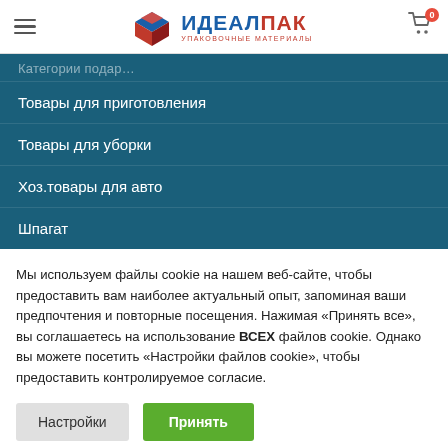ИДЕАЛПАК — Упаковочные материалы (header with logo and cart)
Товары для приготовления
Товары для уборки
Хоз.товары для авто
Шпагат
Мы используем файлы cookie на нашем веб-сайте, чтобы предоставить вам наиболее актуальный опыт, запоминая ваши предпочтения и повторные посещения. Нажимая «Принять все», вы соглашаетесь на использование ВСЕХ файлов cookie. Однако вы можете посетить «Настройки файлов cookie», чтобы предоставить контролируемое согласие.
Настройки | Принять